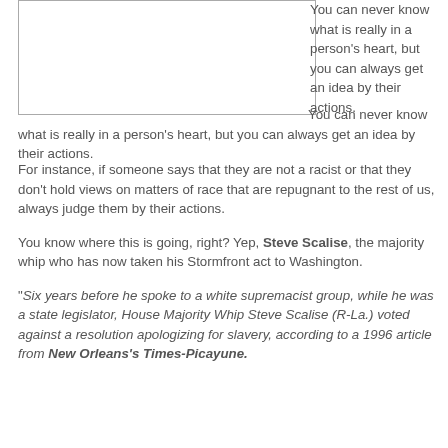[Figure (other): Empty white box with border, top left area]
You can never know what is really in a person's heart, but you can always get an idea by their actions.

For instance, if someone says that they are not a racist or that they don't hold views on matters of race that are repugnant to the rest of us, always judge them by their actions.

You know where this is going, right? Yep, Steve Scalise, the majority whip who has now taken his Stormfront act to Washington.

"Six years before he spoke to a white supremacist group, while he was a state legislator, House Majority Whip Steve Scalise (R-La.) voted against a resolution apologizing for slavery, according to a 1996 article from New Orleans's Times-Picayune.